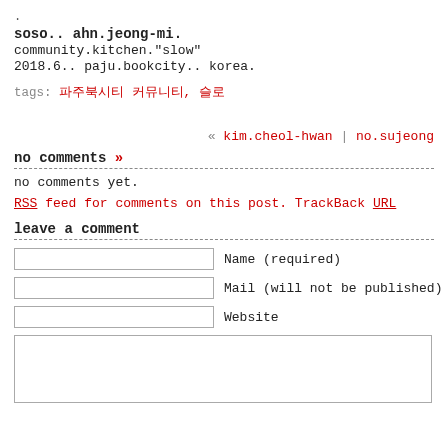.
soso.. ahn.jeong-mi.
community.kitchen."slow"
2018.6.. paju.bookcity.. korea.
tags: 파주북시티 커뮤니티, 슬로
« kim.cheol-hwan | no.sujeong
no comments »
no comments yet.
RSS feed for comments on this post. TrackBack URL
leave a comment
Name (required)
Mail (will not be published) (re
Website